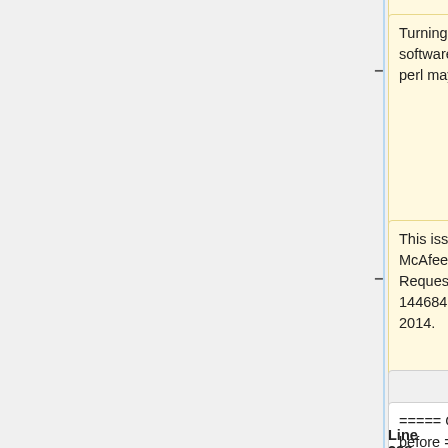[Figure (screenshot): Diff view showing two columns of text changes. Left column (yellow box): 'Turning of anti-virus software while installing perl may help.' with minus sign. Right column (blue box): ':This issue was reported to McAfee as Service Request number 1446848354 16 Mar 2014.' with plus sign. Below left column (yellow box with minus): 'This issue was reported to McAfee as Service Request number 1446848354 16 Mar 2014.' Then gray empty boxes, then boxes with '===== GnuCash 2.4 and before =====' in both columns. Bottom shows 'Line 228:' and 'Line 283:' labels.]